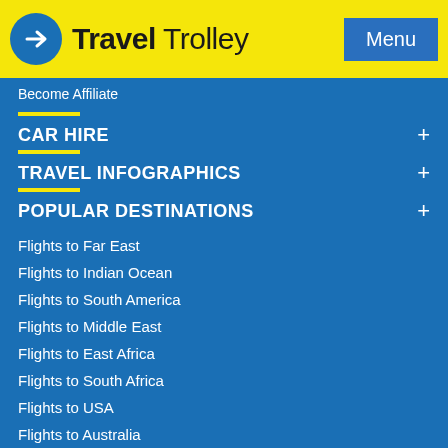Travel Trolley — Menu
Become Affiliate
CAR HIRE
TRAVEL INFOGRAPHICS
POPULAR DESTINATIONS
Flights to Far East
Flights to Indian Ocean
Flights to South America
Flights to Middle East
Flights to East Africa
Flights to South Africa
Flights to USA
Flights to Australia
Flights to New Zealand
Flights to India